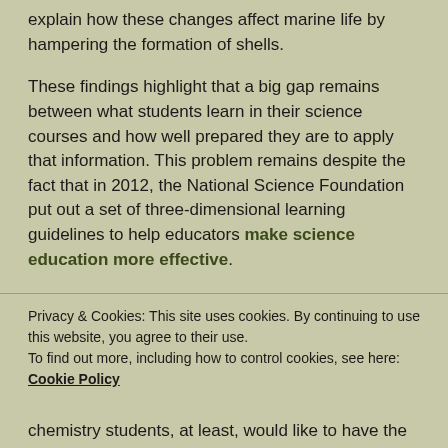explain how these changes affect marine life by hampering the formation of shells.
These findings highlight that a big gap remains between what students learn in their science courses and how well prepared they are to apply that information. This problem remains despite the fact that in 2012, the National Science Foundation put out a set of three-dimensional learning guidelines to help educators make science education more effective.
However, the students in our study also reported that
Privacy & Cookies: This site uses cookies. By continuing to use this website, you agree to their use. To find out more, including how to control cookies, see here: Cookie Policy
Close and accept
chemistry students, at least, would like to have the